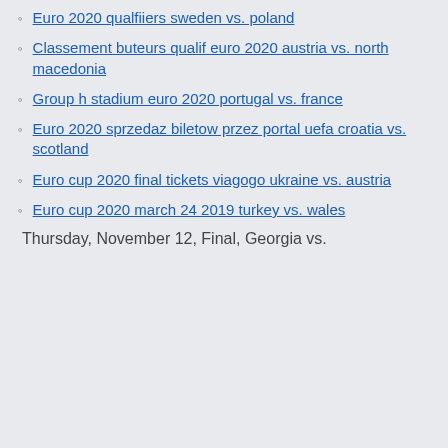Euro 2020 qualfiiers sweden vs. poland
Classement buteurs qualif euro 2020 austria vs. north macedonia
Group h stadium euro 2020 portugal vs. france
Euro 2020 sprzedaz biletow przez portal uefa croatia vs. scotland
Euro cup 2020 final tickets viagogo ukraine vs. austria
Euro cup 2020 march 24 2019 turkey vs. wales
Thursday, November 12, Final, Georgia vs.